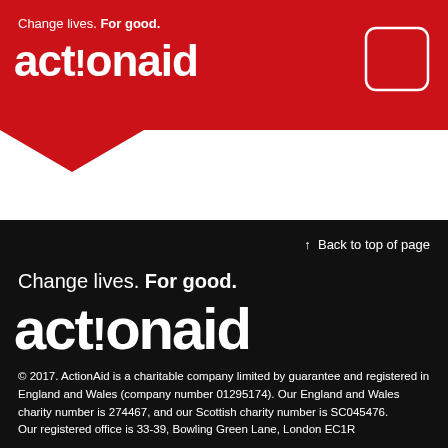Change lives. For good. actionaid
[Figure (logo): ActionAid logo with rounded square outline in top right corner of red header]
↑  Back to top of page
Change lives. For good.
act!onaid
© 2017. ActionAid is a charitable company limited by guarantee and registered in England and Wales (company number 01295174). Our England and Wales charity number is 274467, and our Scottish charity number is SC045476. Our registered office is 33-39, Bowling Green Lane, London EC1R